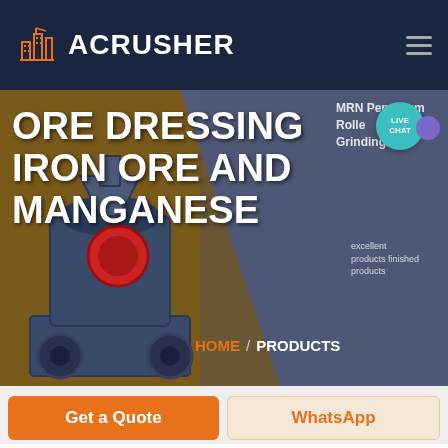[Figure (logo): ACRUSHER company logo with orange building icon and white text on dark navy background header]
[Figure (screenshot): Hero banner showing industrial ore crushing/grinding machine (MRN Pendulum Roller Grinding Mill) on brown and dark blue-grey background with large white title text and breadcrumb navigation]
ORE DRESSING IRON ORE AND MANGANESE
MRN Pendulum Roller Grinding Mill
excellent products finished products
HOME / PRODUCTS
LIVE CHAT
Get a Quote
WhatsApp